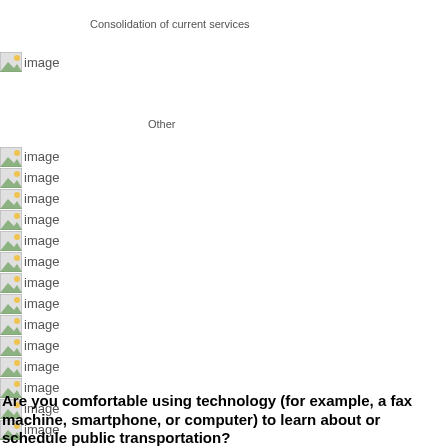Consolidation of current services
[Figure (other): Broken image placeholder labeled 'image']
Other
[Figure (other): 14 broken image placeholders each labeled 'image']
Are you comfortable using technology (for example, a fax machine, smartphone, or computer) to learn about or schedule public transportation?